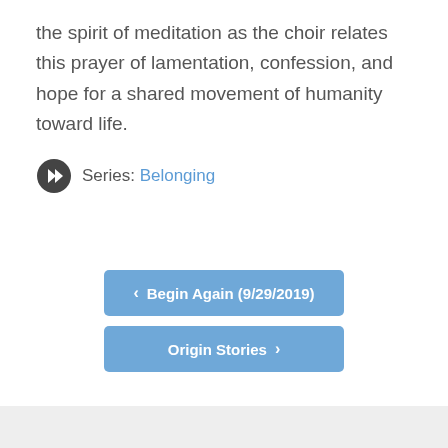the spirit of meditation as the choir relates this prayer of lamentation, confession, and hope for a shared movement of humanity toward life.
Series: Belonging
< Begin Again (9/29/2019)
Origin Stories >